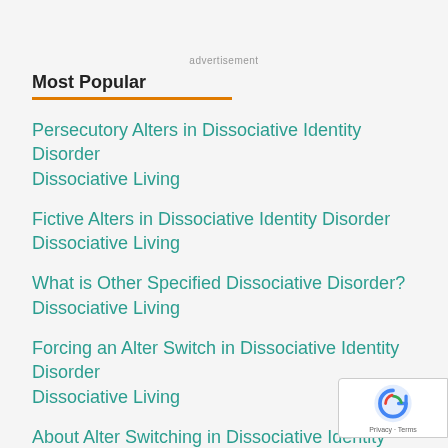advertisement
Most Popular
Persecutory Alters in Dissociative Identity Disorder
Dissociative Living
Fictive Alters in Dissociative Identity Disorder
Dissociative Living
What is Other Specified Dissociative Disorder?
Dissociative Living
Forcing an Alter Switch in Dissociative Identity Disorder
Dissociative Living
About Alter Switching in Dissociative Identity Disorder
Dissociative Living
Tips For Partners Living with Dissociative Identity